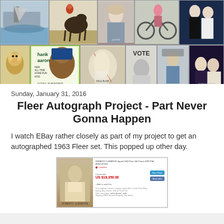[Figure (photo): Collage of vintage collectible cards including a boat scene, horse and rider, woman portrait, bicycle scene, couple in formal wear, monkey illustration, Hank Aaron baseball card, baseball action shot signed by Paul Blair, VOTE political card, baseball player card, and movie still.]
Sunday, January 31, 2016
Fleer Autograph Project - Part Never Gonna Happen
I watch EBay rather closely as part of my project to get an autographed 1963 Fleer set. This popped up other day.
[Figure (screenshot): EBay listing screenshot showing a Roberto Clemente signed 1962 Fleer card with price and buy it now button.]